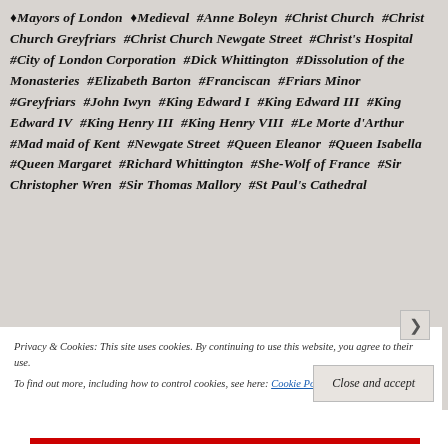♦Mayors of London  ♦Medieval  #Anne Boleyn  #Christ Church  #Christ Church Greyfriars  #Christ Church Newgate Street  #Christ's Hospital  #City of London Corporation  #Dick Whittington  #Dissolution of the Monasteries  #Elizabeth Barton  #Franciscan  #Friars Minor  #Greyfriars  #John Iwyn  #King Edward I  #King Edward III  #King Edward IV  #King Henry III  #King Henry VIII  #Le Morte d'Arthur  #Mad maid of Kent  #Newgate Street  #Queen Eleanor  #Queen Isabella  #Queen Margaret  #Richard Whittington  #She-Wolf of France  #Sir Christopher Wren  #Sir Thomas Mallory  #St Paul's Cathedral
Privacy & Cookies: This site uses cookies. By continuing to use this website, you agree to their use.
To find out more, including how to control cookies, see here: Cookie Policy